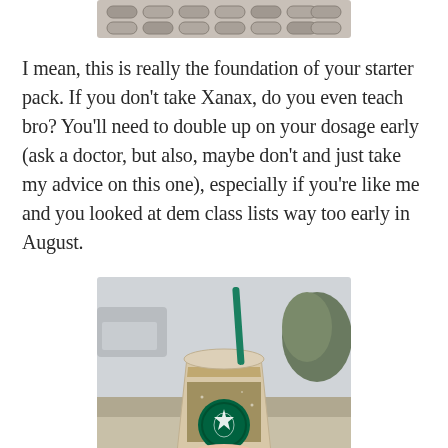[Figure (photo): Photo of a blister pack of pills (Xanax), partially cropped at top]
I mean, this is really the foundation of your starter pack. If you don't take Xanax, do you even teach bro? You'll need to double up on your dosage early (ask a doctor, but also, maybe don't and just take my advice on this one), especially if you're like me and you looked at dem class lists way too early in August.
[Figure (photo): Photo of a person's hand holding a Starbucks iced coffee drink with a green straw, outdoor background]